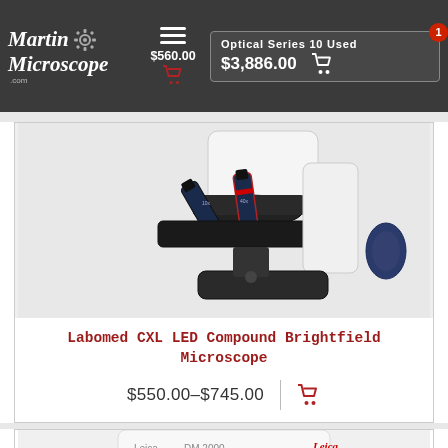Martin Microscope.com — Optical Series 10 Used $3,886.00 | $560.00 | Cart: 1
[Figure (photo): Close-up photo of a Labomed CXL LED Compound Brightfield Microscope showing the nosepiece with objective lenses, mechanical stage, and coarse/fine focus knobs on a white body.]
Labomed CXL LED Compound Brightfield Microscope
$550.00–$745.00
[Figure (photo): Partial view of a Leica DM 2000 microscope, white body with Leica logo, bottom portion visible.]